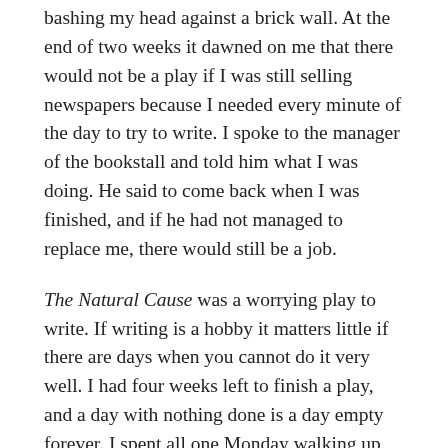bashing my head against a brick wall. At the end of two weeks it dawned on me that there would not be a play if I was still selling newspapers because I needed every minute of the day to try to write. I spoke to the manager of the bookstall and told him what I was doing. He said to come back when I was finished, and if he had not managed to replace me, there would still be a job.
The Natural Cause was a worrying play to write. If writing is a hobby it matters little if there are days when you cannot do it very well. I had four weeks left to finish a play, and a day with nothing done is a day empty forever. I spent all one Monday walking up and down across the Heath, all the time wondering how I was going to lie my way out of writing the play. If I told the director I was ill that was better than saying I could not do it. Or I could just disappear. The rain started. It came down in heavy